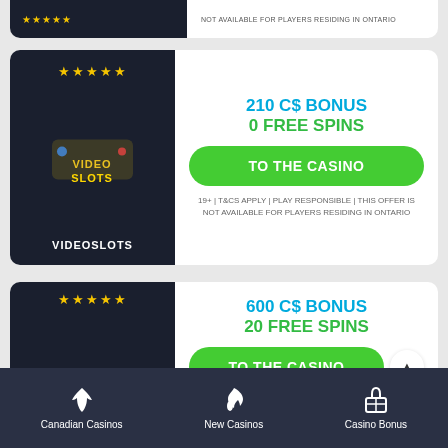[Figure (screenshot): Partial casino card at top with dark left panel showing stars and white right panel with partial text about Ontario]
[Figure (screenshot): Videoslots casino card with dark left panel showing 5 stars and logo, right panel showing 210 C$ Bonus, 0 Free Spins, green TO THE CASINO button, and terms text]
210 C$ BONUS
0 FREE SPINS
TO THE CASINO
19+ | T&CS APPLY | PLAY RESPONSIBLE | THIS OFFER IS NOT AVAILABLE FOR PLAYERS RESIDING IN ONTARIO
[Figure (screenshot): Dunder casino card with dark left panel showing 5 stars and DUNDER logo, right panel showing 600 C$ Bonus, 20 Free Spins, green TO THE CASINO button with scroll arrow]
600 C$ BONUS
20 FREE SPINS
TO THE CASINO
19+ | T&CS APPLY | PLAY RESPONSIBLE | THIS OFFER IS
Canadian Casinos   New Casinos   Casino Bonus